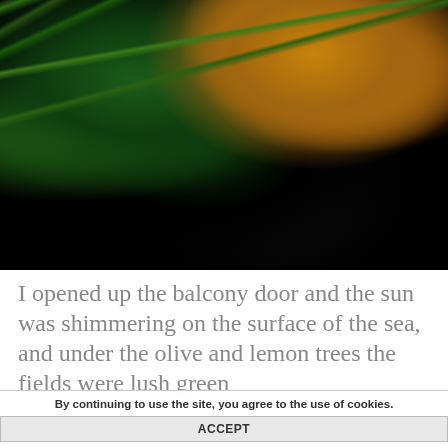[Figure (photo): An orange tabby cat resting among green grass and yellow flowers in a garden setting. The image is dark with rich greens and the warm orange fur of the cat visible in the upper right area.]
I opened up the balcony door and the sun was shimmering on the surface of the sea, and under the olive and lemon trees the fields were lush green
By continuing to use the site, you agree to the use of cookies.
ACCEPT